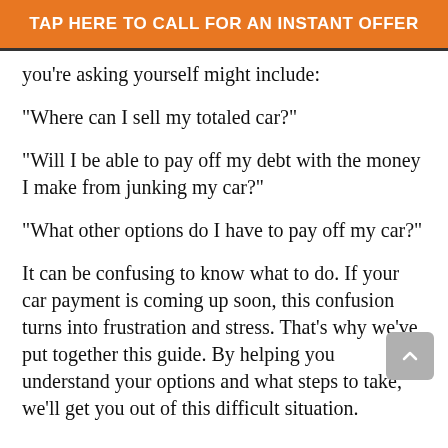TAP HERE TO CALL FOR AN INSTANT OFFER
you're asking yourself might include:
“Where can I sell my totaled car?”
“Will I be able to pay off my debt with the money I make from junking my car?”
“What other options do I have to pay off my car?”
It can be confusing to know what to do. If your car payment is coming up soon, this confusion turns into frustration and stress. That’s why we’ve put together this guide. By helping you understand your options and what steps to take, we’ll get you out of this difficult situation.